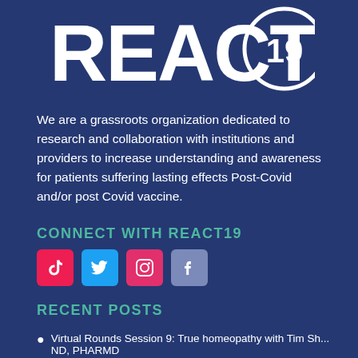[Figure (logo): REACT19 logo — bold white 'REACT' text with '19' inside a white circle, on dark blue background]
We are a grassroots organization dedicated to research and collaboration with institutions and providers to increase understanding and awareness for patients suffering lasting effects Post-Covid and/or post Covid vaccine.
CONNECT WITH REACT19
[Figure (infographic): Four social media icons: TikTok (red), Twitter (blue), Instagram (pink-red), Facebook (gray-blue)]
RECENT POSTS
Virtual Rounds Session 9: True homeopathy with Tim Sh... ND, PHARMD